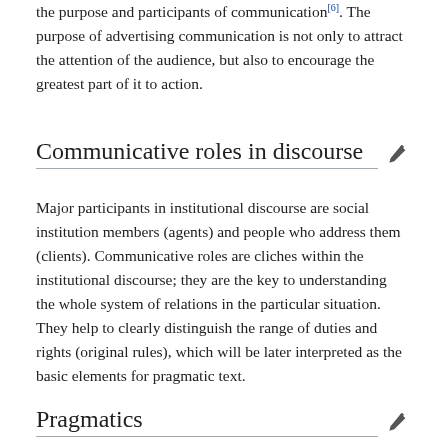the purpose and participants of communication[6]. The purpose of advertising communication is not only to attract the attention of the audience, but also to encourage the greatest part of it to action.
Communicative roles in discourse
Major participants in institutional discourse are social institution members (agents) and people who address them (clients). Communicative roles are cliches within the institutional discourse; they are the key to understanding the whole system of relations in the particular situation. They help to clearly distinguish the range of duties and rights (original rules), which will be later interpreted as the basic elements for pragmatic text.
Pragmatics